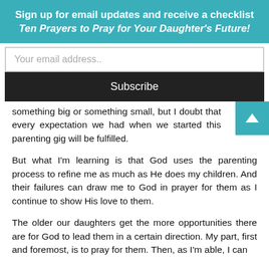Sign up for email updates and receive a checklist Ten Prayers to Pray for Your Daughter's Future!
Your email address..
Subscribe
something big or something small, but I doubt that every expectation we had when we started this parenting gig will be fulfilled.
But what I'm learning is that God uses the parenting process to refine me as much as He does my children. And their failures can draw me to God in prayer for them as I continue to show His love to them.
The older our daughters get the more opportunities there are for God to lead them in a certain direction. My part, first and foremost, is to pray for them. Then, as I'm able, I can